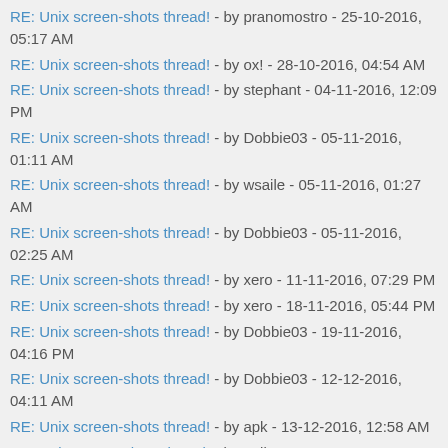RE: Unix screen-shots thread! - by pranomostro - 25-10-2016, 05:17 AM
RE: Unix screen-shots thread! - by ox! - 28-10-2016, 04:54 AM
RE: Unix screen-shots thread! - by stephant - 04-11-2016, 12:09 PM
RE: Unix screen-shots thread! - by Dobbie03 - 05-11-2016, 01:11 AM
RE: Unix screen-shots thread! - by wsaile - 05-11-2016, 01:27 AM
RE: Unix screen-shots thread! - by Dobbie03 - 05-11-2016, 02:25 AM
RE: Unix screen-shots thread! - by xero - 11-11-2016, 07:29 PM
RE: Unix screen-shots thread! - by xero - 18-11-2016, 05:44 PM
RE: Unix screen-shots thread! - by Dobbie03 - 19-11-2016, 04:16 PM
RE: Unix screen-shots thread! - by Dobbie03 - 12-12-2016, 04:11 AM
RE: Unix screen-shots thread! - by apk - 13-12-2016, 12:58 AM
RE: Unix screen-shots thread! - by null - 18-12-2016, 07:57 PM